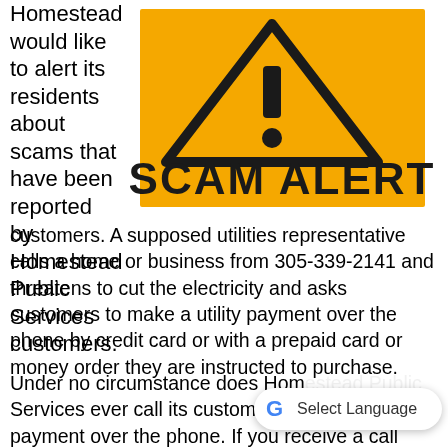Homestead would like to alert its residents about scams that have been reported by Homestead Public Services customers.
[Figure (illustration): Yellow warning sign with exclamation mark triangle and bold text reading SCAM ALERT on yellow background]
A supposed utilities representative calls a home or business from 305-339-2141 and threatens to cut the electricity and asks customers to make a utility payment over the phone by credit card or with a prepaid card or money order they are instructed to purchase.
Under no circumstance does Homestead Public Services ever call its customers to request payment over the phone. If you receive a call